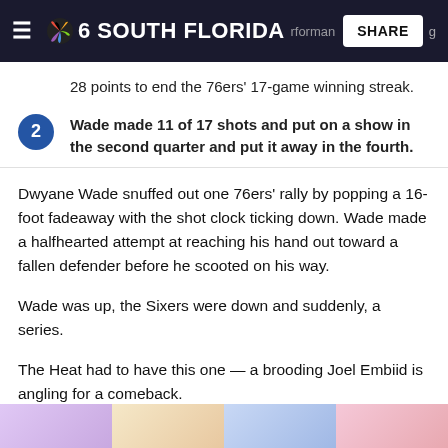NBC 6 South Florida
28 points to end the 76ers' 17-game winning streak.
Wade made 11 of 17 shots and put on a show in the second quarter and put it away in the fourth.
Dwyane Wade snuffed out one 76ers' rally by popping a 16-foot fadeaway with the shot clock ticking down. Wade made a halfhearted attempt at reaching his hand out toward a fallen defender before he scooted on his way.
Wade was up, the Sixers were down and suddenly, a series.
The Heat had to have this one — a brooding Joel Embiid is angling for a comeback.
[Figure (photo): Strip of photos at bottom of page]